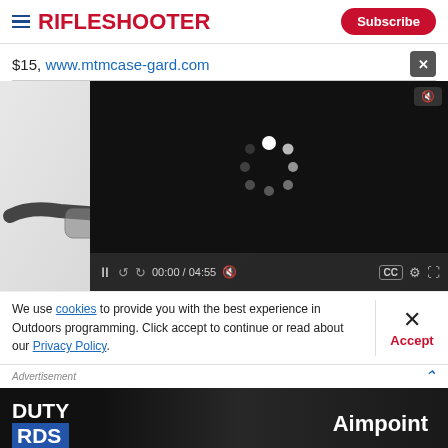RifleShooter | Subscribe
$15, www.mtmcase-gard.com
[Figure (screenshot): Video player overlay on product image showing shooting glasses. Video controls show 00:00 / 04:55 with mute, CC, settings, and fullscreen icons. Loading spinner visible in dark video overlay.]
We use cookies to provide you with the best experience in Outdoors programming. Click accept to continue or read about our Privacy Policy.
Advertisement
[Figure (photo): Aimpoint Duty RDS advertisement banner showing DUTY RDS text and Aimpoint logo over a dark tactical/rifle background image.]